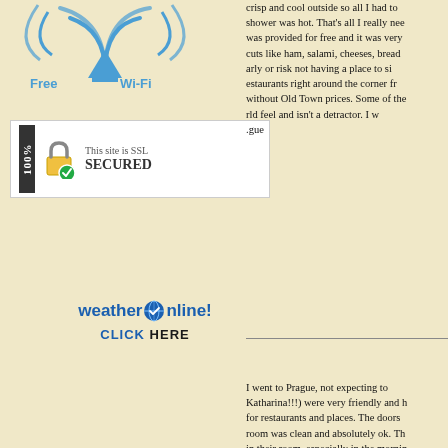[Figure (logo): Free Wi-Fi logo with wireless signal icon and triangle antenna in blue]
[Figure (logo): SSL Secured badge - 100% This site is SSL SECURED with padlock icon]
crisp and cool outside so all I had to shower was hot. That's all I really need was provided for free and it was very cuts like ham, salami, cheeses, bread arly or risk not having a place to si estaurants right around the corner fr without Old Town prices. Some of the rld feel and isn't a detractor. I w gue
[Figure (logo): weatheronline! CLICK HERE advertisement in blue]
I went to Prague, not expecting to Katharina!!!) were very friendly and h for restaurants and places. The doors room was clean and absolutely ok. Th in their room, especially in the mornin service did a very good job and was prices would be a bit lower.